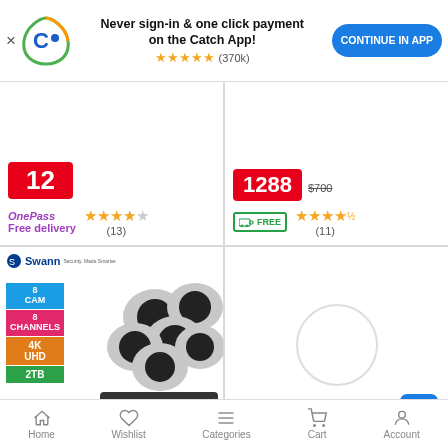[Figure (screenshot): App install banner with Catch.com.au logo, 'Never sign-in & one click payment on the Catch App!' text, 5-star rating (370k), and CONTINUE IN APP button]
[Figure (screenshot): Top-left product card showing price badge '12' in red, OnePass Free delivery label, and 4-star rating (13 reviews)]
[Figure (screenshot): Top-right product card showing price badge '1288' in red with crossed out $700, FREE delivery badge, and 4.5-star rating (11 reviews)]
[Figure (screenshot): Bottom-left product card: Swann SONVK-886808 8-Channel 4K Ultra HD security camera system with ALMOST GONE badge, Swann logo, 8 CAM/8 CHANNELS/4K UHD/2TB spec labels]
Swann SONVK-886808 8-Channel 4K Ultra HD
[Figure (screenshot): Bottom-right product card: loading placeholder circle with scroll-to-top blue button]
(6 Feet, Metal) - 4K HDR HDMI Cable 1.8m - 2160P
Home  Wishlist  Categories  Cart  Account